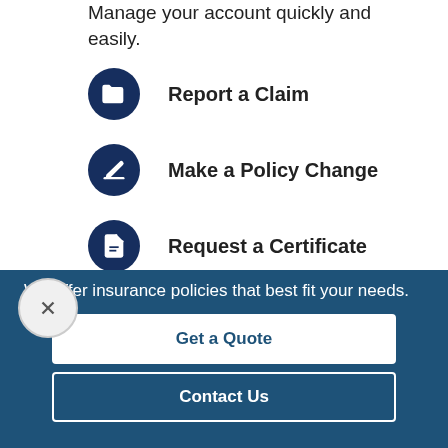Manage your account quickly and easily.
Report a Claim
Make a Policy Change
Request a Certificate
Request an Auto ID Card
We offer insurance policies that best fit your needs.
Get a Quote
Contact Us